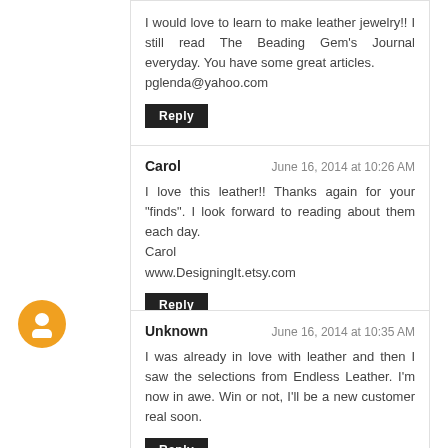I would love to learn to make leather jewelry!! I still read The Beading Gem's Journal everyday. You have some great articles.
pglenda@yahoo.com
Reply
Carol — June 16, 2014 at 10:26 AM
I love this leather!! Thanks again for your "finds". I look forward to reading about them each day.
Carol
www.DesigningIt.etsy.com
Reply
Unknown — June 16, 2014 at 10:35 AM
I was already in love with leather and then I saw the selections from Endless Leather. I'm now in awe. Win or not, I'll be a new customer real soon.
Reply